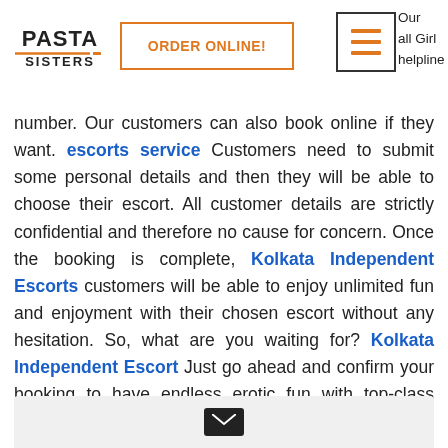PASTA SISTERS | ORDER ONLINE!
number. Our customers can also book online if they want. escorts service Customers need to submit some personal details and then they will be able to choose their escort. All customer details are strictly confidential and therefore no cause for concern. Once the booking is complete, Kolkata Independent Escorts customers will be able to enjoy unlimited fun and enjoyment with their chosen escort without any hesitation. So, what are you waiting for? Kolkata Independent Escort Just go ahead and confirm your booking to have endless erotic fun with top-class Kolkata escorts.
We treat our customers as family members and we wish our customers the best of luck.